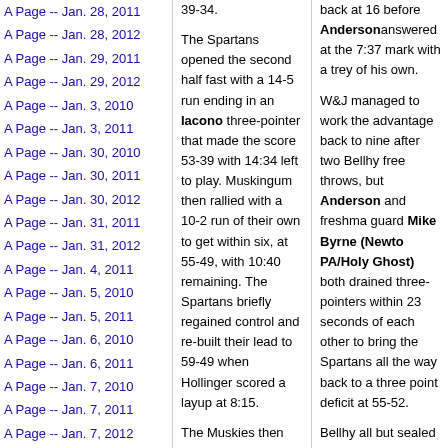A Page -- Jan. 28, 2011
A Page -- Jan. 28, 2012
A Page -- Jan. 29, 2011
A Page -- Jan. 29, 2012
A Page -- Jan. 3, 2010
A Page -- Jan. 3, 2011
A Page -- Jan. 30, 2010
A Page -- Jan. 30, 2011
A Page -- Jan. 30, 2012
A Page -- Jan. 31, 2011
A Page -- Jan. 31, 2012
A Page -- Jan. 4, 2011
A Page -- Jan. 5, 2010
A Page -- Jan. 5, 2011
A Page -- Jan. 6, 2010
A Page -- Jan. 6, 2011
A Page -- Jan. 7, 2010
A Page -- Jan. 7, 2011
A Page -- Jan. 7, 2012
A Page -- Jan. 8, 2010
A Page -- Jan. 8, 2011 (expanded, arrow)
39-34.

The Spartans opened the second half fast with a 14-5 run ending in an Iacono three-pointer that made the score 53-39 with 14:34 left to play. Muskingum then rallied with a 10-2 run of their own to get within six, at 55-49, with 10:40 remaining. The Spartans briefly regained control and re-built their lead to 59-49 when Hollinger scored a layup at 8:15.

The Muskies then outscored Case 14-4 over the next eight minutes and tied the score at 63 apiece when Suzanne Nichols made a pair of free throws with
back at 16 before Anderson answered at the 7:37 mark with a trey of his own.

W&J managed to work the advantage back to nine after two Bellhy free throws, but Anderson and freshman guard Mike Byrne (Newton PA/Holy Ghost) both drained three-pointers within 23 seconds of each other to bring the Spartans all the way back to a three point deficit at 55-52.

Bellhy all but sealed the W&J win with a layup in transition and only 19 seconds remaining, but Summers hit on his first three point attempt of the season to make it a two point game (57-55) with 14 ticks left. Summersthen